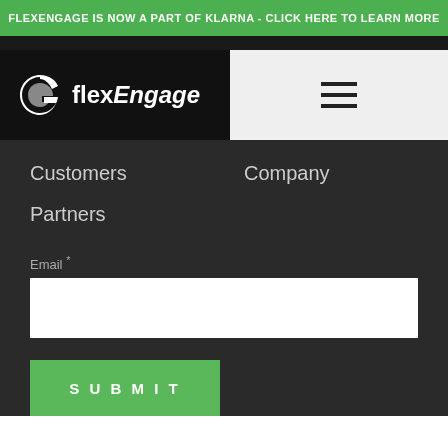FLEXENGAGE IS NOW A PART OF KLARNA - CLICK HERE TO LEARN MORE
[Figure (logo): flexEngage logo with stylized G icon on black background]
Customers
Company
Partners
Email *
SUBMIT